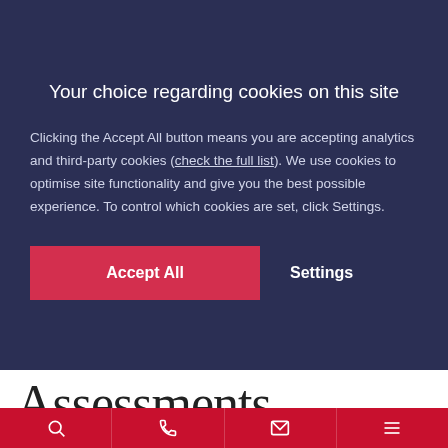Your choice regarding cookies on this site
Clicking the Accept All button means you are accepting analytics and third-party cookies (check the full list). We use cookies to optimise site functionality and give you the best possible experience. To control which cookies are set, click Settings.
Accept All
Settings
Assessments